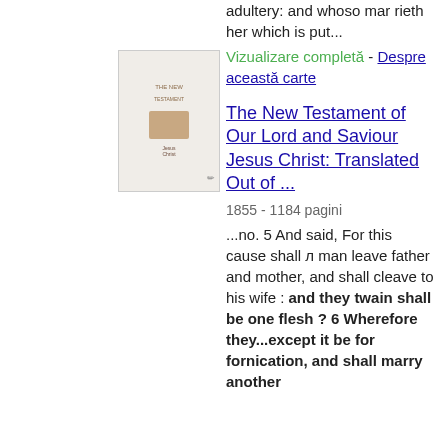adultery: and whoso mar rieth her which is put...
Vizualizare completă - Despre această carte
[Figure (illustration): Book cover thumbnail for The New Testament of Our Lord and Saviour Jesus Christ]
The New Testament of Our Lord and Saviour Jesus Christ: Translated Out of ...
1855 - 1184 pagini
...no. 5 And said, For this cause shall л man leave father and mother, and shall cleave to his wife : and they twain shall be one flesh ? 6 Wherefore they...except it be for fornication, and shall marry another